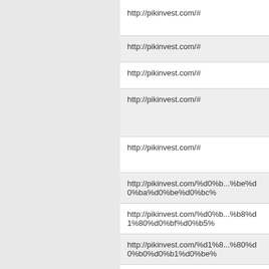http://pikinvest.com/#
http://pikinvest.com/#
http://pikinvest.com/#
http://pikinvest.com/#
http://pikinvest.com/#
http://pikinvest.com/%d0%b...%be%d0%ba%d0%be%d0%bc%
http://pikinvest.com/%d0%b...%b8%d1%80%d0%bf%d0%b5%
http://pikinvest.com/%d1%8...%80%d0%b0%d0%b1%d0%be%